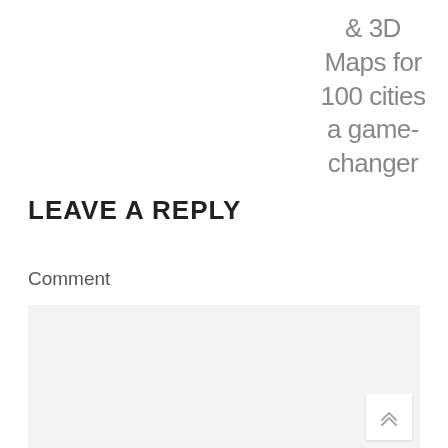& 3D Maps for 100 cities a game-changer
LEAVE A REPLY
Comment
[Figure (other): Empty comment text area input field with light gray background and a scroll-to-top button in the bottom right corner showing a double chevron up arrow]